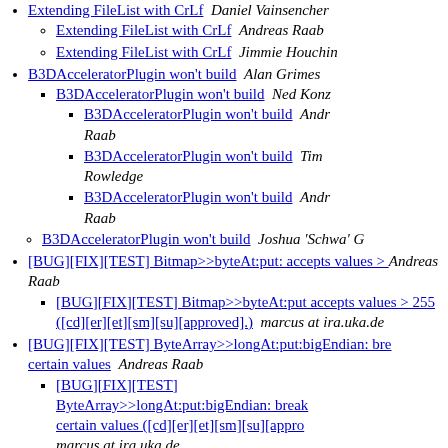Extending FileList with CrLf  Daniel Vainsencher
Extending FileList with CrLf  Andreas Raab
Extending FileList with CrLf  Jimmie Houchin
B3DAcceleratorPlugin won't build  Alan Grimes
B3DAcceleratorPlugin won't build  Ned Konz
B3DAcceleratorPlugin won't build  Andreas Raab
B3DAcceleratorPlugin won't build  Tim Rowledge
B3DAcceleratorPlugin won't build  Andreas Raab
B3DAcceleratorPlugin won't build  Joshua 'Schwa' G
[BUG][FIX][TEST] Bitmap>>byteAt:put: accepts values > 255  Andreas Raab
[BUG][FIX][TEST] Bitmap>>byteAt:put accepts values > 255 ([cd][er][et][sm][su][approved].)  marcus at ira.uka.de
[BUG][FIX][TEST] ByteArray>>longAt:put:bigEndian: breaks certain values  Andreas Raab
[BUG][FIX][TEST] ByteArray>>longAt:put:bigEndian: breaks certain values ([cd][er][et][sm][su][approved].)  marcus at ira.uka.de
[BUG][FIX][TEST] Bitmap>>byteAt:put: accepts values > 255 ([update: 5394].)  dway at